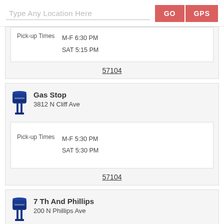Type Any Location Here
GO
GPS
Pick-up Times  M-F 6:30 PM  SAT 5:15 PM
57104
Gas Stop
3812 N Cliff Ave
Pick-up Times  M-F 5:30 PM  SAT 5:30 PM
57104
7 Th And Phillips
200 N Phillips Ave